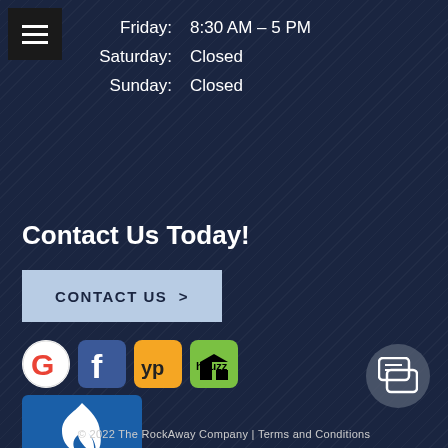Friday:   8:30 AM – 5 PM
Saturday:   Closed
Sunday:   Closed
Contact Us Today!
Contact Us >
[Figure (logo): Google, Facebook, YellowPages, and Houzz social/review platform icons]
[Figure (logo): BBB Accredited Business badge with blue flame logo]
[Figure (other): Chat/messaging icon button in circular background]
© 2022 The RockAway Company | Terms and Conditions